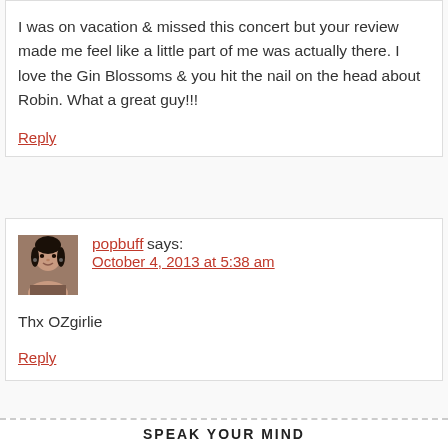I was on vacation & missed this concert but your review made me feel like a little part of me was actually there. I love the Gin Blossoms & you hit the nail on the head about Robin. What a great guy!!!
Reply
popbuff says: October 4, 2013 at 5:38 am
Thx OZgirlie
Reply
SPEAK YOUR MIND